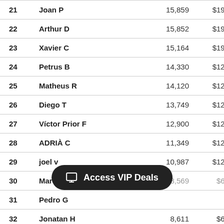| Rank | Name | Score | Prize |
| --- | --- | --- | --- |
| 21 | Joan P | 15,859 | $190 |
| 22 | Arthur D | 15,852 | $190 |
| 23 | Xavier C | 15,164 | $190 |
| 24 | Petrus B | 14,330 | $120 |
| 25 | Matheus R | 14,120 | $120 |
| 26 | Diego T | 13,749 | $120 |
| 27 | Víctor Prior F | 12,900 | $120 |
| 28 | ADRIÀ C | 11,349 | $120 |
| 29 | joel v | 10,987 | $120 |
| 30 | Marcos M | 8,569 | $60 |
| 31 | Pedro G |  |  |
| 32 | Jonatan H | 8,611 | $60 |